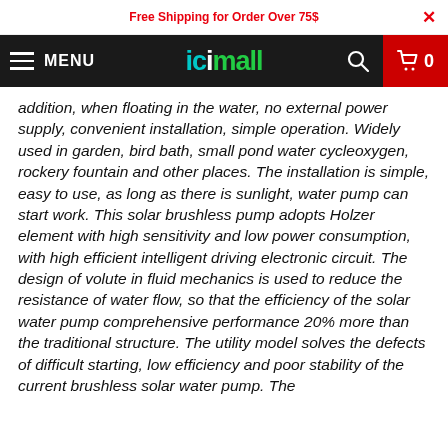Free Shipping for Order Over 75$
[Figure (screenshot): icimall website navigation bar with hamburger menu, logo, search icon, and cart with 0 items]
addition, when floating in the water, no external power supply, convenient installation, simple operation. Widely used in garden, bird bath, small pond water cycleoxygen, rockery fountain and other places. The installation is simple, easy to use, as long as there is sunlight, water pump can start work. This solar brushless pump adopts Holzer element with high sensitivity and low power consumption, with high efficient intelligent driving electronic circuit. The design of volute in fluid mechanics is used to reduce the resistance of water flow, so that the efficiency of the solar water pump comprehensive performance 20% more than the traditional structure. The utility model solves the defects of difficult starting, low efficiency and poor stability of the current brushless solar water pump. The